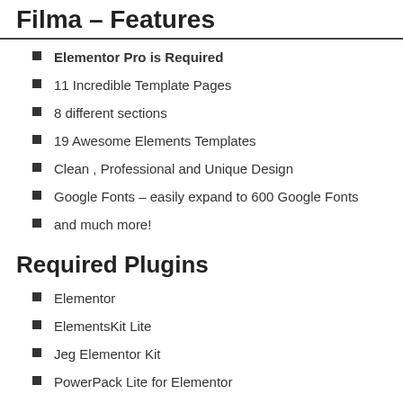Filma – Features
Elementor Pro is Required
11 Incredible Template Pages
8 different sections
19 Awesome Elements Templates
Clean , Professional and Unique Design
Google Fonts – easily expand to 600 Google Fonts
and much more!
Required Plugins
Elementor
ElementsKit Lite
Jeg Elementor Kit
PowerPack Lite for Elementor